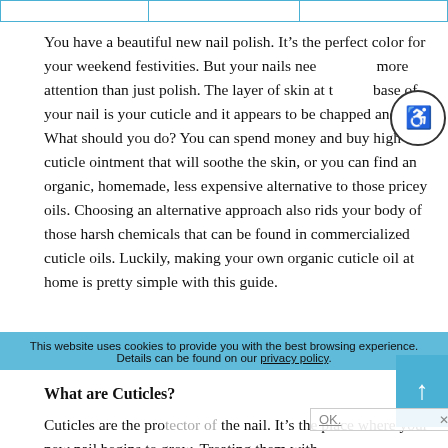|  |  |  |
| --- | --- | --- |
|   |   |   |
You have a beautiful new nail polish. It’s the perfect color for your weekend festivities. But your nails need more attention than just polish. The layer of skin at the base of your nail is your cuticle and it appears to be chapped and dry. What should you do? You can spend money and buy high end cuticle ointment that will soothe the skin, or you can find an organic, homemade, less expensive alternative to those pricey oils. Choosing an alternative approach also rids your body of those harsh chemicals that can be found in commercialized cuticle oils. Luckily, making your own organic cuticle oil at home is pretty simple with this guide.
This website uses cookies to provide you with the best browsing experience. Details can be found on our privacy policy.
What are Cuticles?
Cuticles are the protector of the nail. It’s the place where your new nail begins to grow. Treating them with